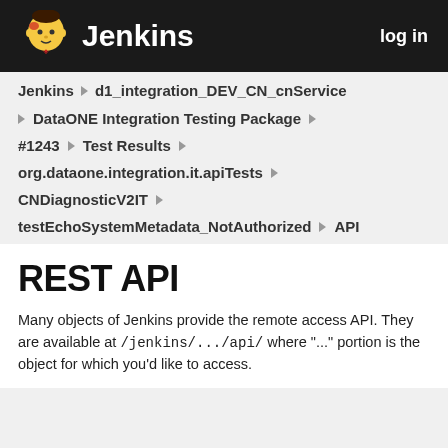Jenkins  log in
Jenkins ▶ d1_integration_DEV_CN_cnService
▶ DataONE Integration Testing Package ▶
#1243 ▶ Test Results ▶
org.dataone.integration.it.apiTests ▶
CNDiagnosticV2IT ▶
testEchoSystemMetadata_NotAuthorized ▶ API
REST API
Many objects of Jenkins provide the remote access API. They are available at /jenkins/.../api/ where "..." portion is the object for which you'd like to access.